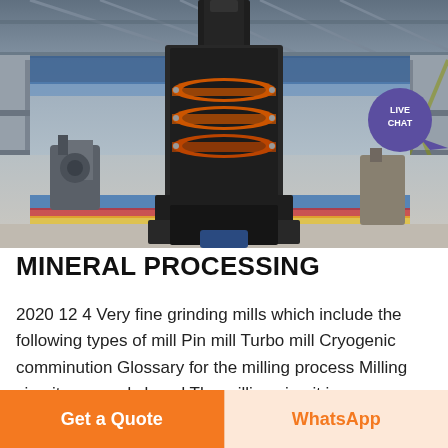[Figure (photo): Industrial cone crusher / milling machine displayed in a large factory/exhibition hall. The machine is a large black metal vertical structure with orange/red ring components in the middle section. The background shows the industrial hall with steel trusses, scaffolding, and a colorful floor (blue, red, yellow stripes). A 'LIVE CHAT' purple speech-bubble icon is overlaid in the top right of the image.]
MINERAL PROCESSING
2020 12 4 Very fine grinding mills which include the following types of mill Pin mill Turbo mill Cryogenic comminution Glossary for the milling process Milling circuitopen and closed The milling circuit is
Get a Quote
WhatsApp